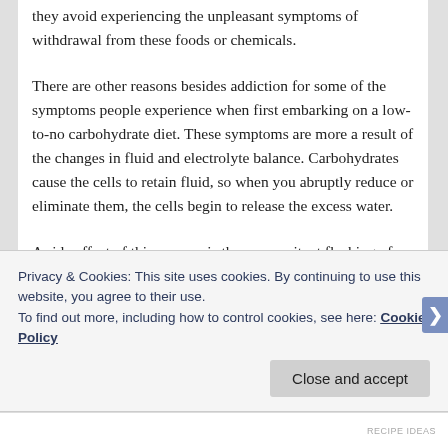they avoid experiencing the unpleasant symptoms of withdrawal from these foods or chemicals.
There are other reasons besides addiction for some of the symptoms people experience when first embarking on a low-to-no carbohydrate diet. These symptoms are more a result of the changes in fluid and electrolyte balance. Carbohydrates cause the cells to retain fluid, so when you abruptly reduce or eliminate them, the cells begin to release the excess water.
A side effect of this process is the concomitant flushing of electrolytes from the body. It takes the kidneys a little while to re-organize themselves and begin preserving and
Privacy & Cookies: This site uses cookies. By continuing to use this website, you agree to their use.
To find out more, including how to control cookies, see here: Cookie Policy
RECIPE IDEAS